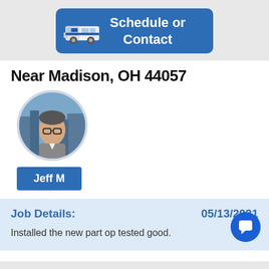[Figure (illustration): Blue 'Schedule or Contact' button with a white van illustration on the left]
Near Madison, OH 44057
[Figure (photo): Circular profile photo of Jeff M, a young man with glasses in a city setting]
Jeff M
Job Details:    05/13/2021
Installed the new part op tested good.